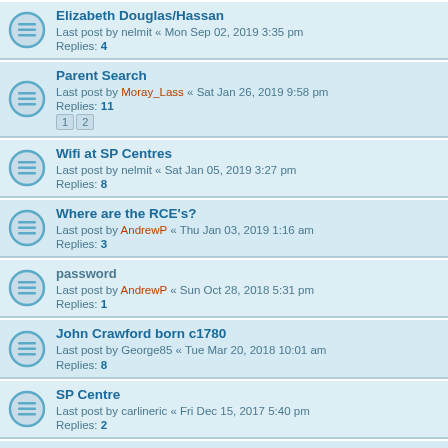Elizabeth Douglas/Hassan
Last post by nelmit « Mon Sep 02, 2019 3:35 pm
Replies: 4
Parent Search
Last post by Moray_Lass « Sat Jan 26, 2019 9:58 pm
Replies: 11
Wifi at SP Centres
Last post by nelmit « Sat Jan 05, 2019 3:27 pm
Replies: 8
Where are the RCE's?
Last post by AndrewP « Thu Jan 03, 2019 1:16 am
Replies: 3
password
Last post by AndrewP « Sun Oct 28, 2018 5:31 pm
Replies: 1
John Crawford born c1780
Last post by George85 « Tue Mar 20, 2018 10:01 am
Replies: 8
SP Centre
Last post by carlineric « Fri Dec 15, 2017 5:40 pm
Replies: 2
Logging in Problems
Last post by paddyscar « Thu Nov 02, 2017 2:38 am
Replies: 3
Previously Viewed RCE's no longer available
Last post by carolineasb « Sat Jun 03, 2017 4:30 pm
Replies: 3
Marriage search on SP
Last post by DavidMK « Mon Mar 27, 2017 6:19 pm